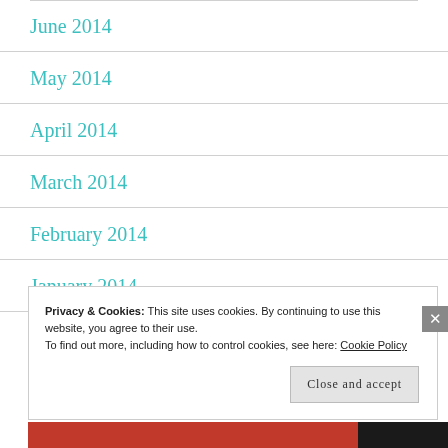June 2014
May 2014
April 2014
March 2014
February 2014
January 2014
Privacy & Cookies: This site uses cookies. By continuing to use this website, you agree to their use.
To find out more, including how to control cookies, see here: Cookie Policy
Close and accept